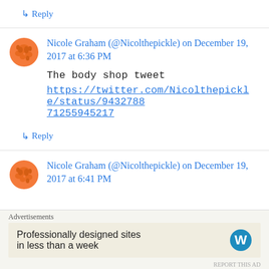↳ Reply
Nicole Graham (@Nicolthepickle) on December 19, 2017 at 6:36 PM
The body shop tweet
https://twitter.com/Nicolthepickle/status/943278871255945217
↳ Reply
Nicole Graham (@Nicolthepickle) on December 19, 2017 at 6:41 PM
Advertisements
Professionally designed sites in less than a week